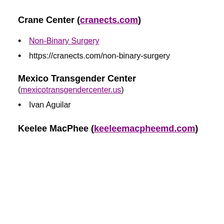Crane Center (cranects.com)
Non-Binary Surgery
https://cranects.com/non-binary-surgery
Mexico Transgender Center (mexicotransgendercenter.us)
Ivan Aguilar
Keelee MacPhee (keeleemacpheemd.com)